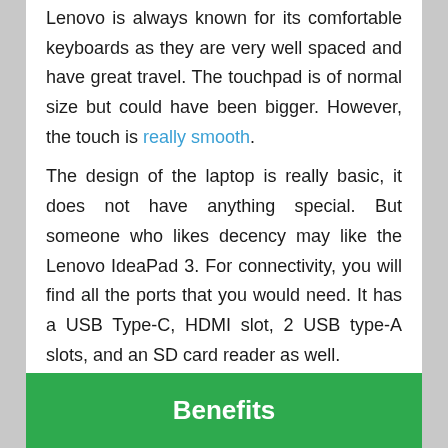Lenovo is always known for its comfortable keyboards as they are very well spaced and have great travel. The touchpad is of normal size but could have been bigger. However, the touch is really smooth.
The design of the laptop is really basic, it does not have anything special. But someone who likes decency may like the Lenovo IdeaPad 3. For connectivity, you will find all the ports that you would need. It has a USB Type-C, HDMI slot, 2 USB type-A slots, and an SD card reader as well.
Benefits